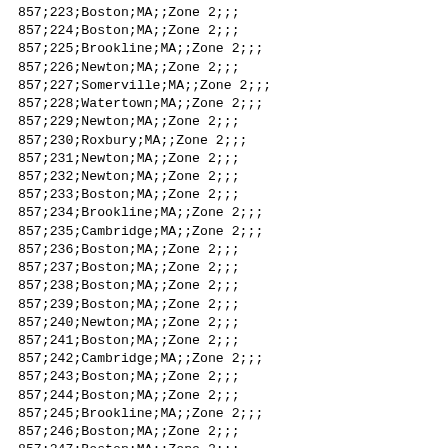| 857;223;Boston;MA;;Zone 2;;; |
| 857;224;Boston;MA;;Zone 2;;; |
| 857;225;Brookline;MA;;Zone 2;;; |
| 857;226;Newton;MA;;Zone 2;;; |
| 857;227;Somerville;MA;;Zone 2;;; |
| 857;228;Watertown;MA;;Zone 2;;; |
| 857;229;Newton;MA;;Zone 2;;; |
| 857;230;Roxbury;MA;;Zone 2;;; |
| 857;231;Newton;MA;;Zone 2;;; |
| 857;232;Newton;MA;;Zone 2;;; |
| 857;233;Boston;MA;;Zone 2;;; |
| 857;234;Brookline;MA;;Zone 2;;; |
| 857;235;Cambridge;MA;;Zone 2;;; |
| 857;236;Boston;MA;;Zone 2;;; |
| 857;237;Boston;MA;;Zone 2;;; |
| 857;238;Boston;MA;;Zone 2;;; |
| 857;239;Boston;MA;;Zone 2;;; |
| 857;240;Newton;MA;;Zone 2;;; |
| 857;241;Boston;MA;;Zone 2;;; |
| 857;242;Cambridge;MA;;Zone 2;;; |
| 857;243;Boston;MA;;Zone 2;;; |
| 857;244;Boston;MA;;Zone 2;;; |
| 857;245;Brookline;MA;;Zone 2;;; |
| 857;246;Boston;MA;;Zone 2;;; |
| 857;247;Boston;MA;;Zone 2;;; |
| 857;248;Boston;MA;;Zone 2;;; |
| 857;249;Boston;MA;;Zone 2;;; |
| 857;250;Boston;MA;;Zone 2;;; |
| 857;251;Boston;MA;;Zone 2;;; |
| 857;253;Cambridge;MA;;Zone 2;;; |